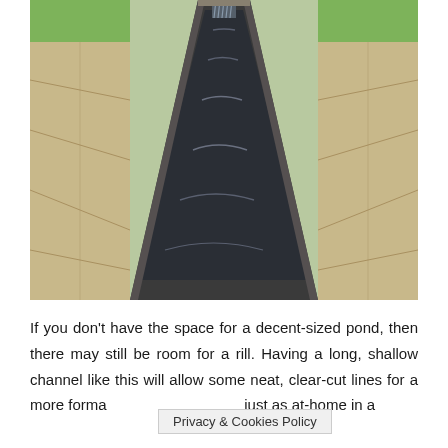[Figure (photo): A narrow stone rill or water channel running lengthwise between stone paving slabs, with green grass on either side. Water is flowing from the far end toward the viewer, creating ripples in the dark channel.]
If you don't have the space for a decent-sized pond, then there may still be room for a rill. Having a long, shallow channel like this will allow some neat, clear-cut lines for a more forma  [Privacy & Cookies Policy]  just as at-home in a